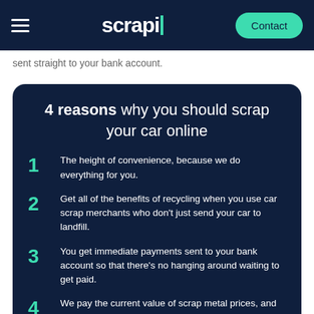scrapi | Contact
sent straight to your bank account.
4 reasons why you should scrap your car online
1 The height of convenience, because we do everything for you.
2 Get all of the benefits of recycling when you use car scrap merchants who don't just send your car to landfill.
3 You get immediate payments sent to your bank account so that there's no hanging around waiting to get paid.
4 We pay the current value of scrap metal prices, and in Bromley, that